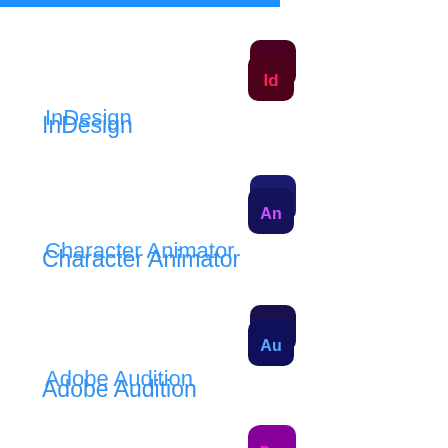[Figure (illustration): Blue horizontal bar at top of page]
[Figure (logo): Adobe InDesign app icon - dark red/maroon rounded square with 'Id' text]
InDesign
[Figure (logo): Adobe Character Animator app icon - dark navy rounded square with 'An' text]
Character Animator
[Figure (logo): Adobe Audition app icon - dark navy rounded square with 'Au' text]
Adobe Audition
[Figure (logo): Adobe Dreamweaver app icon - magenta/purple rounded square with 'Dw' text]
Dreamweaver
[Figure (illustration): Crescent moon icon]
[Figure (logo): Adobe Rush app icon - dark navy rounded square with 'Ru' text]
[Figure (illustration): Upward arrow icon]